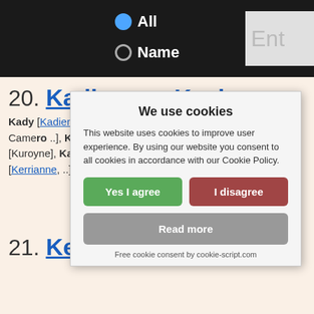All | Name | Ent...
20. Kadienne - Kevinne
Kady [Kadienne], Kaylin [Kaylynne, [Kalaine], Kaline [...], Camerо ..], Ka... [Karine, Kara [Karine [Karline, ...], Koron [Kuroyne], Ka... [Trine, ...] e [Katianne ... a [Kellyanne, ..], Ke... [Kerrianne, ..], K...
[Figure (screenshot): Cookie consent dialog with title 'We use cookies', body text about cookie policy, Yes I agree (green) and I disagree (red) buttons, Read more (gray) button, and footer 'Free cookie consent by cookie-script.com']
21. Keyne - Larsine